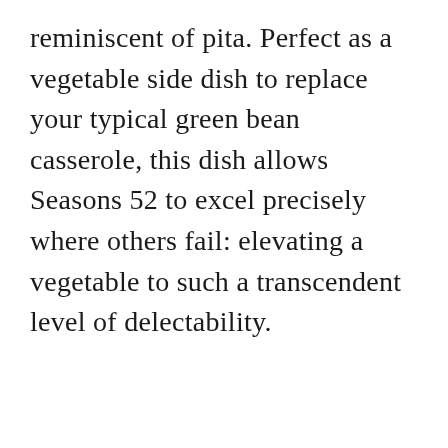reminiscent of pita. Perfect as a vegetable side dish to replace your typical green bean casserole, this dish allows Seasons 52 to excel precisely where others fail: elevating a vegetable to such a transcendent level of delectability.